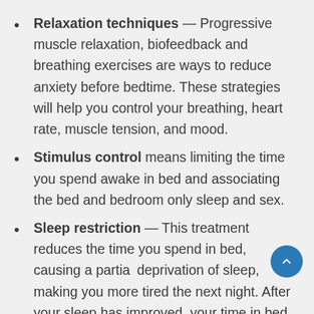Relaxation techniques — Progressive muscle relaxation, biofeedback and breathing exercises are ways to reduce anxiety before bedtime. These strategies will help you control your breathing, heart rate, muscle tension, and mood.
Stimulus control means limiting the time you spend awake in bed and associating the bed and bedroom only sleep and sex.
Sleep restriction — This treatment reduces the time you spend in bed, causing a partial deprivation of sleep, making you more tired the next night. After your sleep has improved, your time in bed is gradually